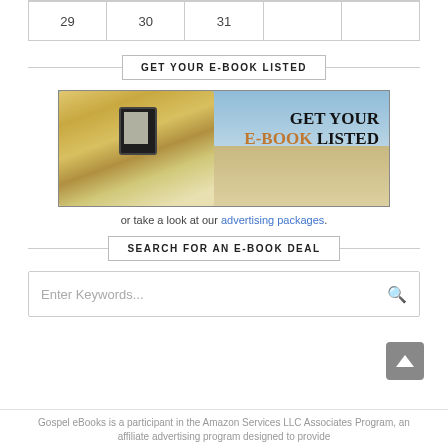| 29 | 30 | 31 |  |  |
GET YOUR E-BOOK LISTED
[Figure (illustration): Advertisement banner showing a person relaxing on a beach chair reading an e-reader device, with text overlay reading GET YOUR E-BOOK LISTED]
or take a look at our advertising packages.
SEARCH FOR AN E-BOOK DEAL
Enter Keywords...
Gospel eBooks is a participant in the Amazon Services LLC Associates Program, an affiliate advertising program designed to provide